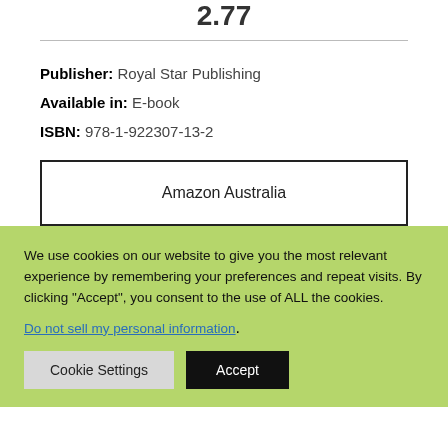2.77
Publisher: Royal Star Publishing
Available in: E-book
ISBN: 978-1-922307-13-2
Amazon Australia
We use cookies on our website to give you the most relevant experience by remembering your preferences and repeat visits. By clicking “Accept”, you consent to the use of ALL the cookies.
Do not sell my personal information.
Cookie Settings
Accept